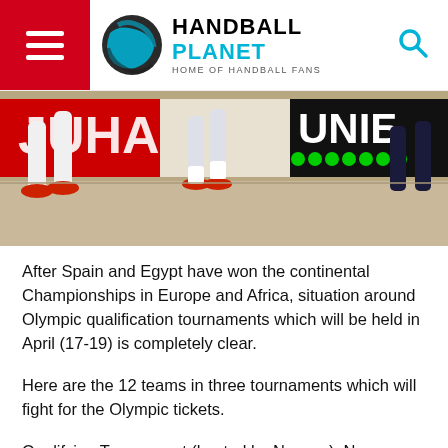HANDBALL PLANET — HOME OF HANDBALL FANS
[Figure (photo): Action photo of handball players' legs running on a court, with advertising boards in the background showing logos including 'UNIБ'.]
After Spain and Egypt have won the continental Championships in Europe and Africa, situation around Olympic qualification tournaments which will be held in April (17-19) is completely clear.
Here are the 12 teams in three tournaments which will fight for the Olympic tickets.
Qualifying Tournament (hosted by Norway): Norway, Brazil, Chile, South Korea.
Qualifying Tournament (hosted by...